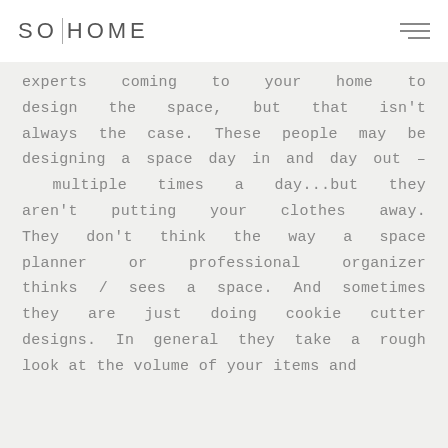SO|HOME
experts coming to your home to design the space, but that isn't always the case. These people may be designing a space day in and day out – multiple times a day...but they aren't putting your clothes away. They don't think the way a space planner or professional organizer thinks / sees a space. And sometimes they are just doing cookie cutter designs. In general they take a rough look at the volume of your items and